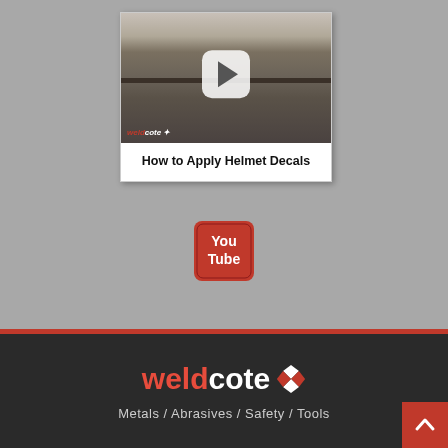[Figure (screenshot): Video thumbnail showing a man seated at a table with welding helmets displaying American flag decals, with a play button overlay. Weldcote logo watermark in bottom-left of thumbnail.]
How to Apply Helmet Decals
[Figure (logo): YouTube logo icon — red rounded rectangle with 'You' on top line and 'Tube' on bottom line in white text.]
[Figure (logo): Weldcote logo: 'weld' in red and 'cote' in white with a diamond/rhombus icon, on dark background.]
Metals / Abrasives / Safety / Tools